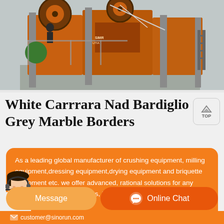[Figure (photo): Industrial heavy crushing/mining equipment, orange-colored large jaw crusher machinery on a concrete platform, workers visible in background]
White Carrrara Nad Bardiglio Grey Marble Borders
As a leading global manufacturer of crushing equipment, milling equipment,dressing equipment,drying equipment and briquette equipment etc. we offer advanced, rational solutions for any size-reduction requirements, including quarry, aggregate, grinding…
Message
Online Chat
customer@sinorun.com